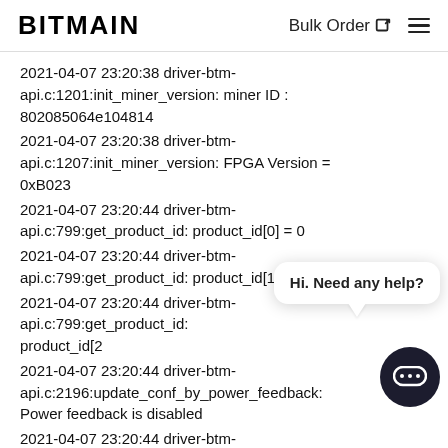BITMAIN  Bulk Order
2021-04-07 23:20:38 driver-btm-api.c:1201:init_miner_version: miner ID : 802085064e104814
2021-04-07 23:20:38 driver-btm-api.c:1207:init_miner_version: FPGA Version = 0xB023
2021-04-07 23:20:44 driver-btm-api.c:799:get_product_id: product_id[0] = 0
2021-04-07 23:20:44 driver-btm-api.c:799:get_product_id: product_id[1] = 0
2021-04-07 23:20:44 driver-btm-api.c:799:get_product_id: product_id[2
2021-04-07 23:20:44 driver-btm-api.c:2196:update_conf_by_power_feedback: Power feedback is disabled
2021-04-07 23:20:44 driver-btm-api.c:2164:get_calibration_voltage: calibration